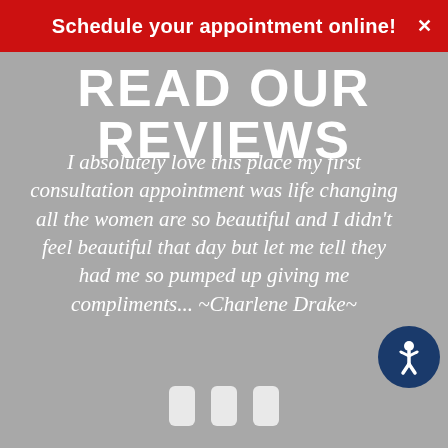Schedule your appointment online!
READ OUR REVIEWS
I absolutely love this place my first consultation appointment was life changing all the women are so beautiful and I didn't feel beautiful that day but let me tell they had me so pumped up giving me compliments... ~Charlene Drake~
[Figure (other): Accessibility icon button - blue circle with white person/wheelchair symbol]
[Figure (other): Three white rounded rectangle dots indicating a carousel slider]